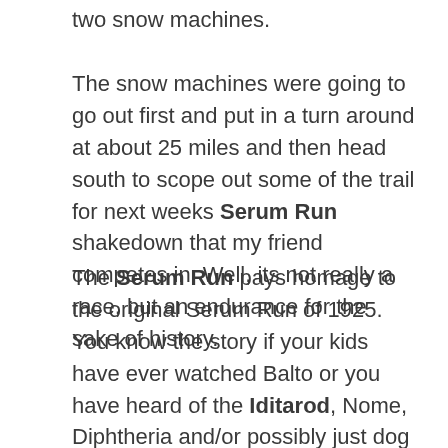two snow machines.
The snow machines were going to go out first and put in a turn around at about 25 miles and then head south to scope out some of the trail for next weeks Serum Run shakedown that my friend competes in. Well, its not really a race, but an endurance for the sake of history.
The Serum Run pays homage to the original Serum Run of 1925. You know the story if your kids have ever watched Balto or you have heard of the Iditarod, Nome, Diphtheria and/or possibly just dog sledding in general.